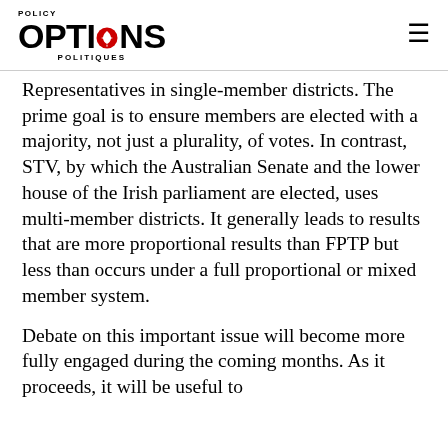POLICY OPTIONS POLITIQUES
Representatives in single-member districts. The prime goal is to ensure members are elected with a majority, not just a plurality, of votes. In contrast, STV, by which the Australian Senate and the lower house of the Irish parliament are elected, uses multi-member districts. It generally leads to results that are more proportional results than FPTP but less than occurs under a full proportional or mixed member system.
Debate on this important issue will become more fully engaged during the coming months. As it proceeds, it will be useful to